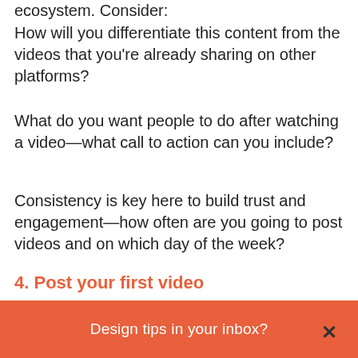ecosystem. Consider:
How will you differentiate this content from the videos that you're already sharing on other platforms?
What do you want people to do after watching a video—what call to action can you include?
Consistency is key here to build trust and engagement—how often are you going to post videos and on which day of the week?
4. Post your first video
The ref...
Design tips in your inbox?